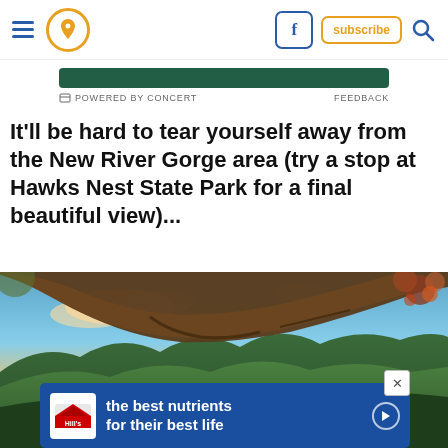Navigation bar with hamburger menu, location pin icon, Facebook icon, Subscribe button, Search icon
[Figure (screenshot): Advertisement bar: POWERED BY CONCERT / FEEDBACK label strip in dark green, with small concert logo icon on left]
It'll be hard to tear yourself away from the New River Gorge area (try a stop at Hawks Nest State Park for a final beautiful view)...
[Figure (photo): Landscape panoramic photo of New River Gorge area with large oak tree branch in foreground, colorful sunset sky with clouds, rolling forested hills and river valley below, autumn foliage visible]
[Figure (infographic): Advertisement banner for Hill's pet food: blue background, Hill's logo on left, text 'the best nutrients for their best life', play button on right, X close button at top right]